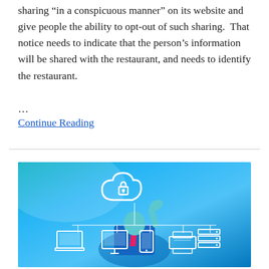sharing “in a conspicuous manner” on its website and give people the ability to opt-out of such sharing.  That notice needs to indicate that the person’s information will be shared with the restaurant, and needs to identify the restaurant.
…
Continue Reading
[Figure (illustration): Image showing a person in a blue suit touching a cloud with a padlock icon, connected by lines to various device icons (laptop, monitor, tablet/phone, printer, server stack, server rack) below, representing cloud security and network connectivity.]